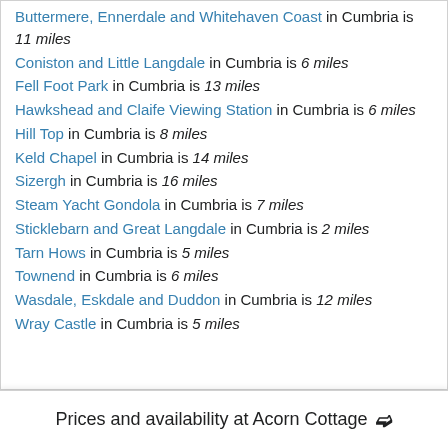Buttermere, Ennerdale and Whitehaven Coast in Cumbria is 11 miles
Coniston and Little Langdale in Cumbria is 6 miles
Fell Foot Park in Cumbria is 13 miles
Hawkshead and Claife Viewing Station in Cumbria is 6 miles
Hill Top in Cumbria is 8 miles
Keld Chapel in Cumbria is 14 miles
Sizergh in Cumbria is 16 miles
Steam Yacht Gondola in Cumbria is 7 miles
Sticklebarn and Great Langdale in Cumbria is 2 miles
Tarn Hows in Cumbria is 5 miles
Townend in Cumbria is 6 miles
Wasdale, Eskdale and Duddon in Cumbria is 12 miles
Wray Castle in Cumbria is 5 miles
Prices and availability at Acorn Cottage ❯